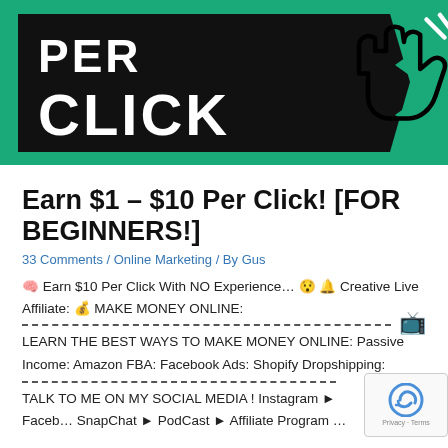[Figure (illustration): Banner image with green background showing 'PER CLICK' text in white on black block with a hand pointer icon]
Earn $1 – $10 Per Click! [FOR BEGINNERS!]
33 Comments / Online Marketing / By Gus
🧠 Earn $10 Per Click With NO Experience… 😯 🔔 Creative Live Affiliate: 💰 MAKE MONEY ONLINE:
LEARN THE BEST WAYS TO MAKE MONEY ONLINE: Passive Income: Amazon FBA: Facebook Ads: Shopify Dropshipping:
TALK TO ME ON MY SOCIAL MEDIA ! Instagram ► Faceb… SnapChat ► PodCast ► Affiliate Program …